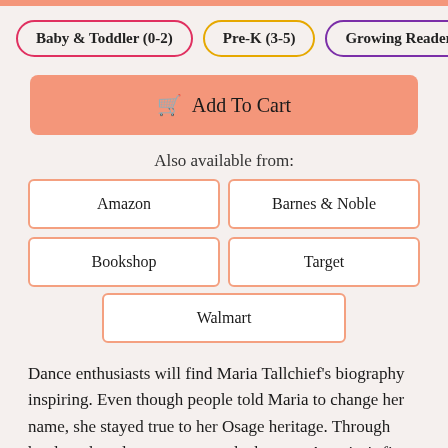Baby & Toddler (0-2)
Pre-K (3-5)
Growing Reader
Add To Cart
Also available from:
Amazon
Barnes & Noble
Bookshop
Target
Walmart
Dance enthusiasts will find Maria Tallchief’s biography inspiring. Even though people told Maria to change her name, she stayed true to her Osage heritage. Through hard work and perseverance, she became America’s first prima